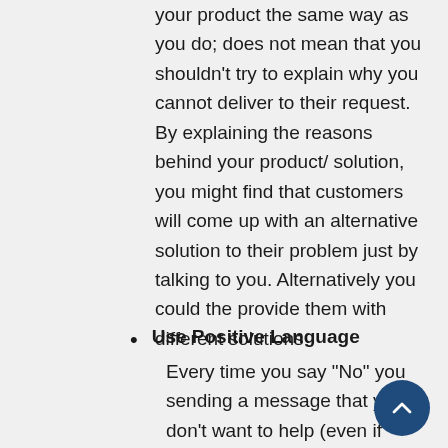your product the same way as you do; does not mean that you shouldn't try to explain why you cannot deliver to their request. By explaining the reasons behind your product/ solution, you might find that customers will come up with an alternative solution to their problem just by talking to you. Alternatively you could the provide them with different solutions
Use Positive Language
Every time you say "No" you sending a message that you don't want to help (even if something cannot be done). You must always